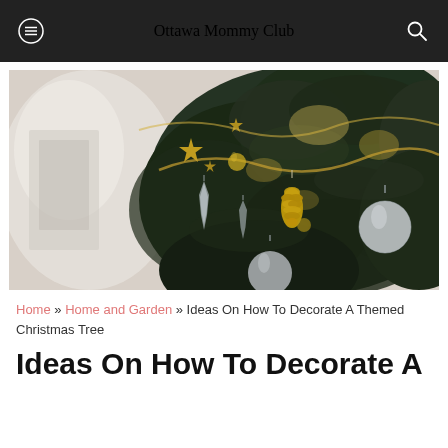Ottawa Mommy Club
[Figure (photo): Close-up photo of a decorated Christmas tree with gold and silver ornaments including star shapes, a pinecone ornament, and round ball ornaments, with bokeh background.]
Home » Home and Garden » Ideas On How To Decorate A Themed Christmas Tree
Ideas On How To Decorate A